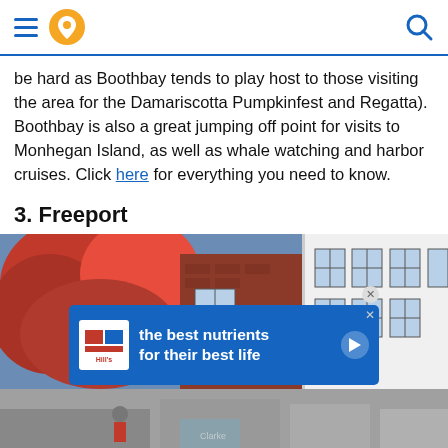Navigation header with hamburger menu, location pin icon, and search icon
be hard as Boothbay tends to play host to those visiting the area for the Damariscotta Pumpkinfest and Regatta). Boothbay is also a great jumping off point for visits to Monhegan Island, as well as whale watching and harbor cruises. Click here for everything you need to know.
3. Freeport
[Figure (photo): Autumn foliage with red leaves on a tree in front of a red brick building and a white building with multi-pane windows]
[Figure (infographic): Advertisement banner for Hill's pet nutrition: 'the best nutrients for their best life' with Hill's logo and a play button]
[Figure (photo): Bottom portion of a street scene photo with people and storefronts]